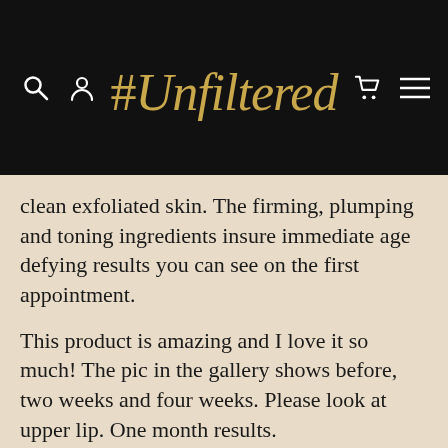#Unfiltered
clean exfoliated skin. The firming, plumping and toning ingredients insure immediate age defying results you can see on the first appointment.
This product is amazing and I love it so much! The pic in the gallery shows before, two weeks and four weeks. Please look at upper lip. One month results.
Salon pricing is available with bulk purchases. Please contact us with any questions.